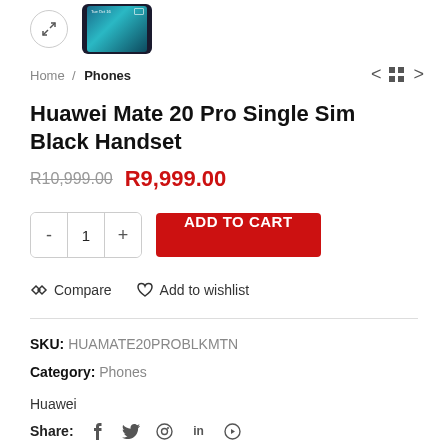[Figure (screenshot): Top portion of a product page showing a phone image and expand icon]
Home / Phones
Huawei Mate 20 Pro Single Sim Black Handset
R10,999.00  R9,999.00
- 1 + ADD TO CART
Compare   Add to wishlist
SKU: HUAMATE20PROBLKMTN
Category: Phones
Huawei
Share: social icons